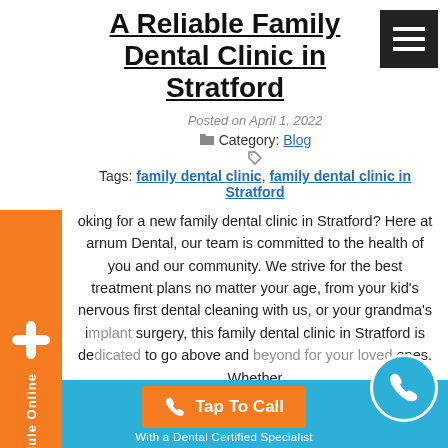A Reliable Family Dental Clinic in Stratford
Posted on April 1, 2022
Category: Blog
Tags: family dental clinic, family dental clinic in Stratford
ooking for a new family dental clinic in Stratford? Here at arnum Dental, our team is committed to the health of you and our community. We strive for the best treatment plans no matter your age, from your kid's nervous first dental cleaning with us, or your grandma's [implied: implant] surgery, this family dental clinic in Stratford is dedicated to go above and the health of [loved] ones. Whether
Tap To Call
With a Dental Certified Specialist